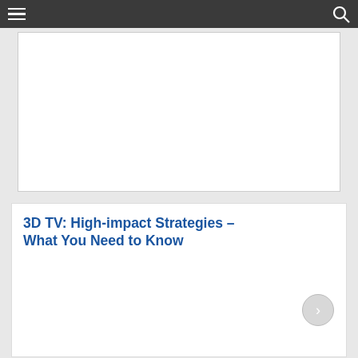Navigation bar with menu and search icons
[Figure (other): Advertisement banner placeholder area, white rectangle with border]
3D TV: High-impact Strategies – What You Need to Know
[Figure (photo): Book cover showing '3D TV: High-impact Strategies – What You Need to Know' by Kevin Roebuck, with blue panel listing bullet points and photo of a child blowing a dandelion]